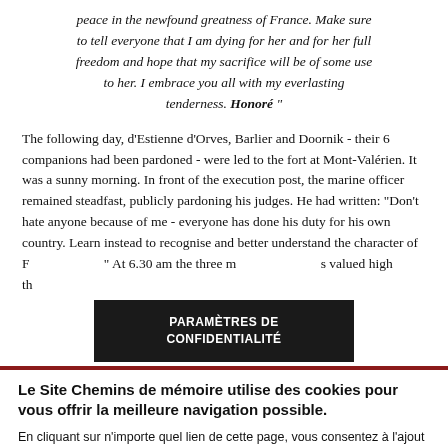peace in the newfound greatness of France. Make sure to tell everyone that I am dying for her and for her full freedom and hope that my sacrifice will be of some use to her. I embrace you all with my everlasting tenderness. Honoré"
The following day, d'Estienne d'Orves, Barlier and Doornik - their 6 companions had been pardoned - were led to the fort at Mont-Valérien. It was a sunny morning. In front of the execution post, the marine officer remained steadfast, publicly pardoning his judges. He had written: "Don't hate anyone because of me - everyone has done his duty for his own country. Learn instead to recognise and better understand the character of F... At 6.30 am the three m... s valued high th...
PARAMÈTRES DE CONFIDENTIALITÉ
Le Site Chemins de mémoire utilise des cookies pour vous offrir la meilleure navigation possible.
En cliquant sur n'importe quel lien de cette page, vous consentez à l'ajout de cookies. Plus d'informations
ACCEPTER
NON, MERCI.